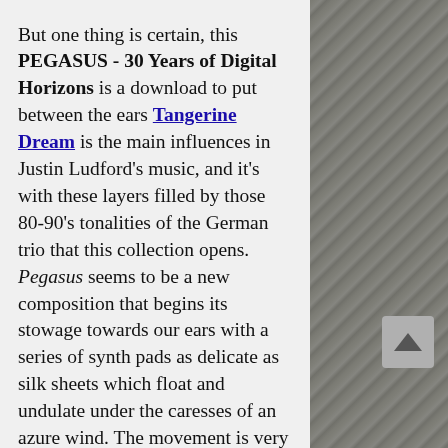But one thing is certain, this PEGASUS - 30 Years of Digital Horizons is a download to put between the ears Tangerine Dream is the main influences in Justin Ludford's music, and it's with these layers filled by those 80-90's tonalities of the German trio that this collection opens. Pegasus seems to be a new composition that begins its stowage towards our ears with a series of synth pads as delicate as silk sheets which float and undulate under the caresses of an azure wind. The movement is very ethereal and lasts nearly 3 minutes where perfumes of The Keep caress our eardrums. A